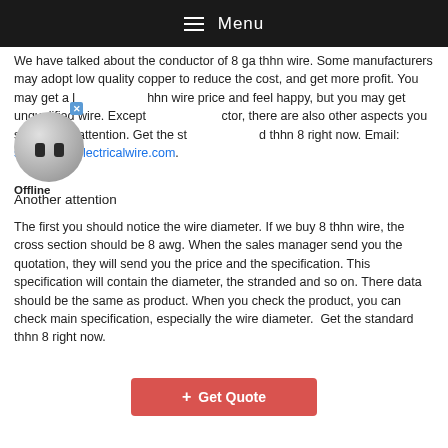Menu
We have talked about the conductor of 8 ga thhn wire. Some manufacturers may adopt low quality copper to reduce the cost, and get more profit. You may get a low thhn wire price and feel happy, but you may get unqualified wire. Except conductor, there are also other aspects you should pay attention. Get the standard thhn 8 right now. Email: sales@hdcelectricalwire.com.
[Figure (illustration): Chat widget showing an offline robot/ball avatar with a close button and Offline label]
Another attention
The first you should notice the wire diameter. If we buy 8 thhn wire, the cross section should be 8 awg. When the sales manager send you the quotation, they will send you the price and the specification. This specification will contain the diameter, the stranded and so on. There data should be the same as product. When you check the product, you can check main specification, especially the wire diameter.  Get the standard thhn 8 right now.
+ Get Quote